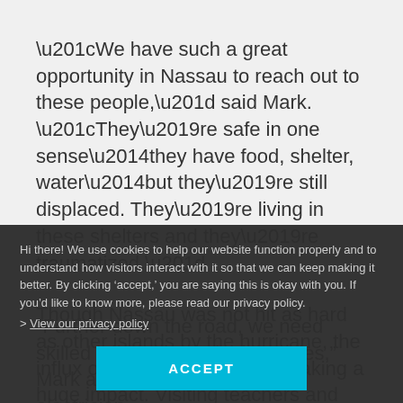“We have such a great opportunity in Nassau to reach out to these people,” said Mark. “They’re safe in one sense—they have food, shelter, water—but they’re still displaced. They’re living in these shelters and they’re traumatized.”
Though Nassau was not hit as hard as other islands by the hurricane, the influx of displaced people is making a huge impact. Visiting teachers and tutors. Nearly 10,000 new children were registered into the already-crowded Nassau school system, and have started classes.
“Further down the road, we need skilled labor, people in the trades,” Mark added. “Construction, electrician,
Hi there! We use cookies to help our website function properly and to understand how visitors interact with it so that we can keep making it better. By clicking ‘accept,’ you are saying this is okay with you. If you’d like to know more, please read our privacy policy.
> View our privacy policy
ACCEPT